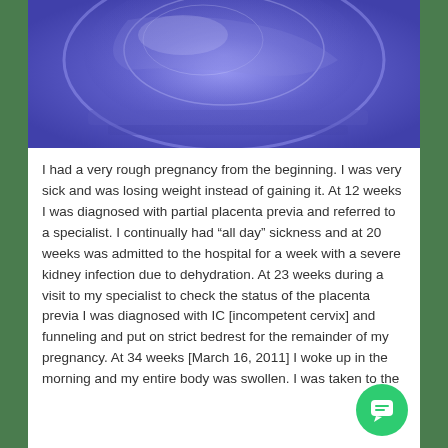[Figure (photo): A blue-tinted photo of what appears to be a hospital incubator or medical equipment, viewed from above. The image has a purple/blue color cast.]
I had a very rough pregnancy from the beginning. I was very sick and was losing weight instead of gaining it. At 12 weeks I was diagnosed with partial placenta previa and referred to a specialist. I continually had “all day” sickness and at 20 weeks was admitted to the hospital for a week with a severe kidney infection due to dehydration. At 23 weeks during a visit to my specialist to check the status of the placenta previa I was diagnosed with IC [incompetent cervix] and funneling and put on strict bedrest for the remainder of my pregnancy. At 34 weeks [March 16, 2011] I woke up in the morning and my entire body was swollen. I was taken to the